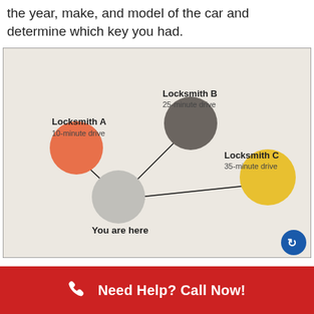the year, make, and model of the car and determine which key you had.
[Figure (infographic): Map-style diagram showing three locksmiths and a 'You are here' location. Locksmith A (red/orange circle, 10-minute drive) top-left, Locksmith B (dark grey circle, 25-minute drive) top-center, Locksmith C (yellow circle, 35-minute drive) right. A grey circle labeled 'You are here' at bottom-left. Arrows point from Locksmith A and Locksmith B toward 'You are here', and a line connects Locksmith C to 'You are here'. A blue circular logo badge in bottom-right corner.]
Need Help? Call Now!